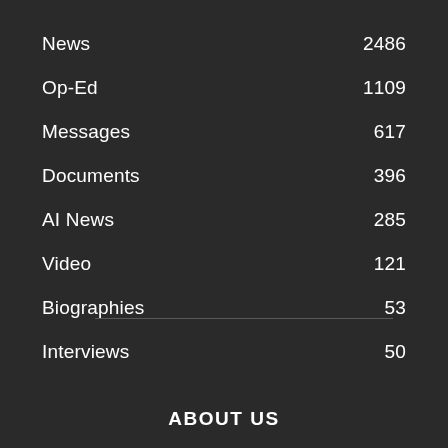News 2486
Op-Ed 1109
Messages 617
Documents 396
AI News 285
Video 121
Biographies 53
Interviews 50
ABOUT US